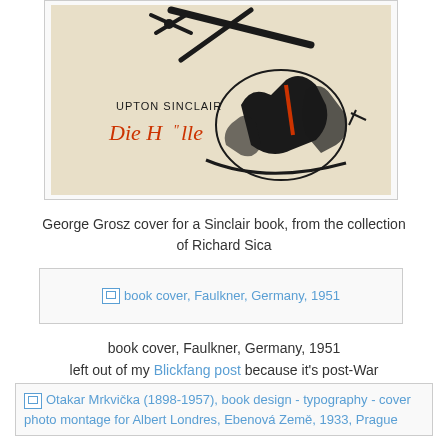[Figure (photo): Book cover illustration by George Grosz for Upton Sinclair's 'Die Hölle', showing chaotic pen-drawn figures with planes and people on a beige/tan background with red cursive title text]
George Grosz cover for a Sinclair book, from the collection of Richard Sica
[Figure (photo): Broken image placeholder linking to book cover, Faulkner, Germany, 1951]
book cover, Faulkner, Germany, 1951
left out of my Blickfang post because it's post-War
[Figure (photo): Broken image placeholder linking to Otakar Mrkvička (1898-1957), book design - typography - cover photo montage for Albert Londres, Ebenová Země, 1933, Prague]